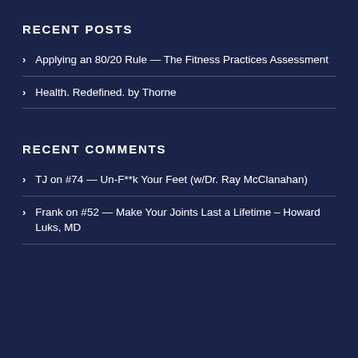RECENT POSTS
Applying an 80/20 Rule — The Fitness Practices Assessment
Health. Redefined. by Thorne
RECENT COMMENTS
TJ on #74 — Un-F**k Your Feet (w/Dr. Ray McClanahan)
Frank on #52 — Make Your Joints Last a Lifetime – Howard Luks, MD